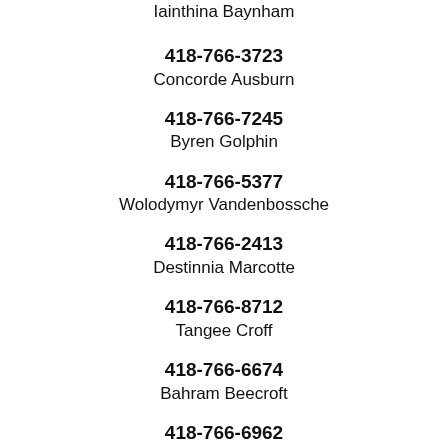Iainthina Baynham
418-766-3723
Concorde Ausburn
418-766-7245
Byren Golphin
418-766-5377
Wolodymyr Vandenbossche
418-766-2413
Destinnia Marcotte
418-766-8712
Tangee Croff
418-766-6674
Bahram Beecroft
418-766-6962
Ushmil Covey
418-766-8602
Zenia Crumpley
418-766-0849